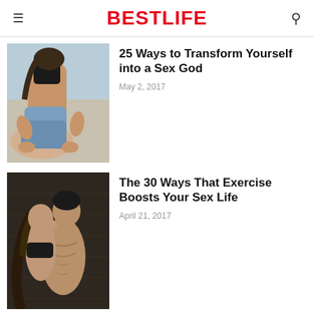BestLife
[Figure (photo): Couple in intimate pose on bed, woman in jeans straddling man]
25 Ways to Transform Yourself into a Sex God
May 2, 2017
[Figure (photo): Couple embracing and kissing, shirtless man with woman in dark top]
The 30 Ways That Exercise Boosts Your Sex Life
April 21, 2017